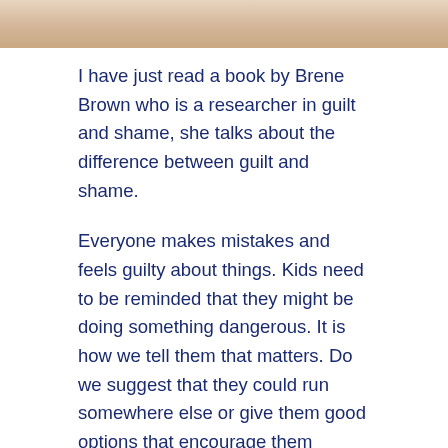[Figure (photo): Partial photo of a person, cropped at top of page showing skin/face area]
I have just read a book by Brene Brown who is a researcher in guilt and shame, she talks about the difference between guilt and shame.
Everyone makes mistakes and feels guilty about things. Kids need to be reminded that they might be doing something dangerous. It is how we tell them that matters. Do we suggest that they could run somewhere else or give them good options that encourage them instead?
Shame is when we use those mistakes as a direct reflection on the nature of who people are. Instead of saying "What you are doing there is pretty gross and you are making a bit of a mess how about we clean it up together," we tend to say "You are really gross and